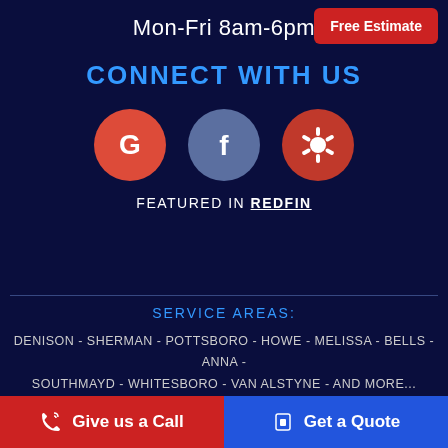Mon-Fri 8am-6pm
Free Estimate
CONNECT WITH US
[Figure (logo): Google, Facebook, and Yelp social media icon circles]
FEATURED IN REDFIN
SERVICE AREAS:
DENISON - SHERMAN - POTTSBORO - HOWE - MELISSA - BELLS - ANNA - SOUTHMAYD - WHITESBORO - VAN ALSTYNE - AND MORE...
COPYRIGHT © 2022 PRIVACY POLICY | DESIGN BY: BIG WEST MARKETING
Give us a Call
Get a Quote